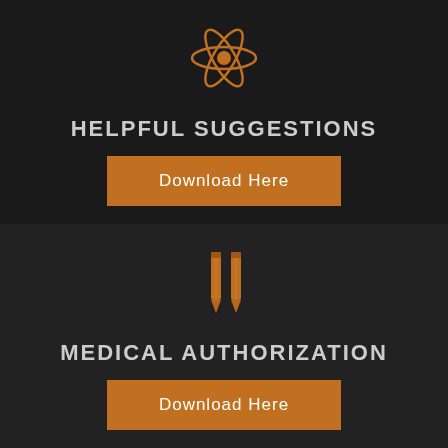[Figure (illustration): Orange atom/molecule icon with orbiting electrons on dark background]
HELPFUL SUGGESTIONS
Download Here
[Figure (illustration): Two orange pencil icons side by side on dark background]
MEDICAL AUTHORIZATION
Download Here